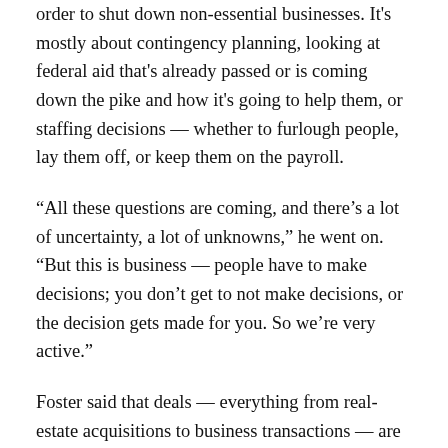order to shut down non-essential businesses. It's mostly about contingency planning, looking at federal aid that's already passed or is coming down the pike and how it's going to help them, or staffing decisions — whether to furlough people, lay them off, or keep them on the payroll.
“All these questions are coming, and there’s a lot of uncertainty, a lot of unknowns,” he went on. “But this is business — people have to make decisions; you don’t get to not make decisions, or the decision gets made for you. So we’re very active.”
Foster said that deals — everything from real-estate acquisitions to business transactions — are still taking place, albeit at a slower pace in some cases.